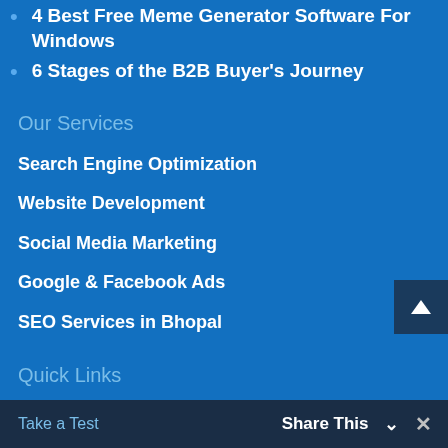4 Best Free Meme Generator Software For Windows
6 Stages of the B2B Buyer's Journey
Our Services
Search Engine Optimization
Website Development
Social Media Marketing
Google & Facebook Ads
SEO Services in Bhopal
Quick Links
Start Learning
Take a Test    Share This ∨    ✕